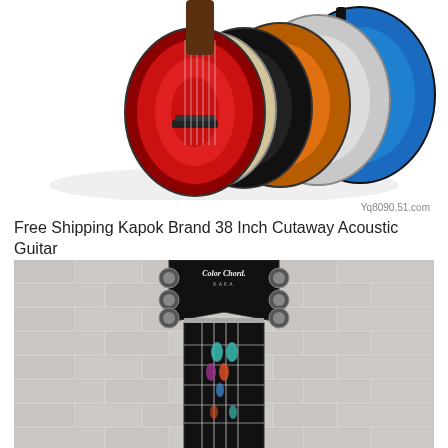[Figure (photo): Multiple colorful acoustic guitars fanned out showing different color options: red, natural/cream, black, orange sunburst, white/grey, and blue, viewed from the front body.]
Yq8090.51.com
Free Shipping Kapok Brand 38 Inch Cutaway Acoustic Guitar
[Figure (photo): Close-up photo of a guitar headstock labeled 'Color Chord' against a white brick wall background. The black headstock shows tuning pegs and colorful feather/arrow inlays on the fretboard.]